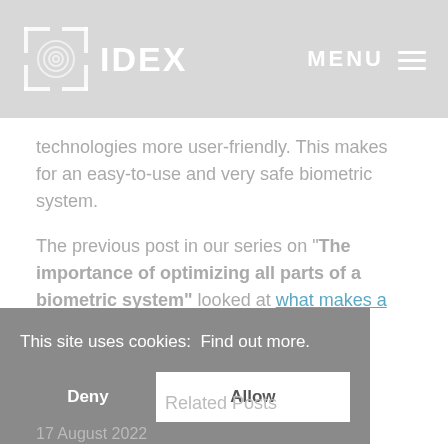IDEX  MENU
technologies more user-friendly. This makes for an easy-to-use and very safe biometric system.
The previous post in our series on "The importance of optimizing all parts of a biometric system" looked at what makes a successful biometric tool?
[Figure (other): Social media sharing icons: Facebook, Google+, Twitter, LinkedIn circles]
This site uses cookies:  Find out more.
Related Posts
Deny   Allow
17 August 2022